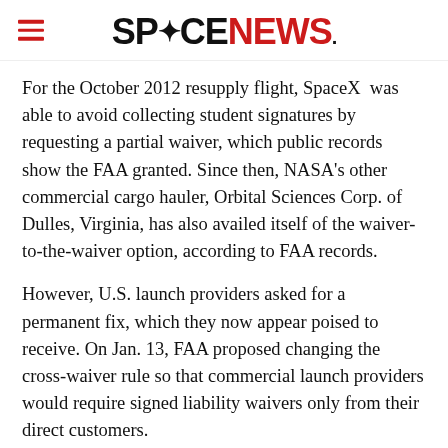SPACENEWS
For the October 2012 resupply flight, SpaceX  was able to avoid collecting student signatures by requesting a partial waiver, which public records show the FAA granted. Since then, NASA's other commercial cargo hauler, Orbital Sciences Corp. of Dulles, Virginia, has also availed itself of the waiver-to-the-waiver option, according to FAA records.
However, U.S. launch providers asked for a permanent fix, which they now appear poised to receive. On Jan. 13, FAA proposed changing the cross-waiver rule so that commercial launch providers would require signed liability waivers only from their direct customers.
“Issuing a waiver is costly and time-consuming to the